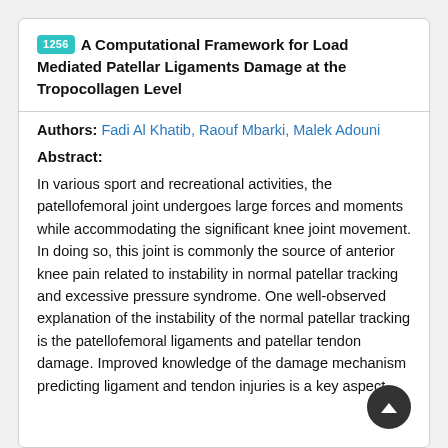1256 A Computational Framework for Load Mediated Patellar Ligaments Damage at the Tropocollagen Level
Authors: Fadi Al Khatib, Raouf Mbarki, Malek Adouni
Abstract:
In various sport and recreational activities, the patellofemoral joint undergoes large forces and moments while accommodating the significant knee joint movement. In doing so, this joint is commonly the source of anterior knee pain related to instability in normal patellar tracking and excessive pressure syndrome. One well-observed explanation of the instability of the normal patellar tracking is the patellofemoral ligaments and patellar tendon damage. Improved knowledge of the damage mechanism predicting ligament and tendon injuries is a key aspect